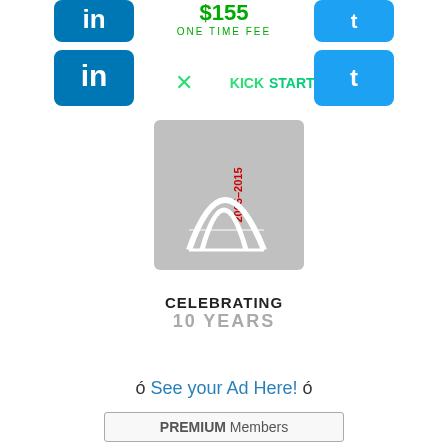[Figure (logo): Top banner with social media icons (LinkedIn, Twitter) and Kickstarter logo, with '$155 ONE TIME FEE' text in green and red]
[Figure (logo): Celebrating 10 Years badge logo with years 2005-2015 and stylized bridge graphic, text reads CELEBRATING 10 YEARS]
ó See your Ad Here! ó
[Figure (other): Button/banner labeled PREMIUM Members]
[Figure (logo): RightITnow logo with orange bridge graphic above the text]
[Figure (logo): JobsWare.com logo in dark text with .com in smaller font]